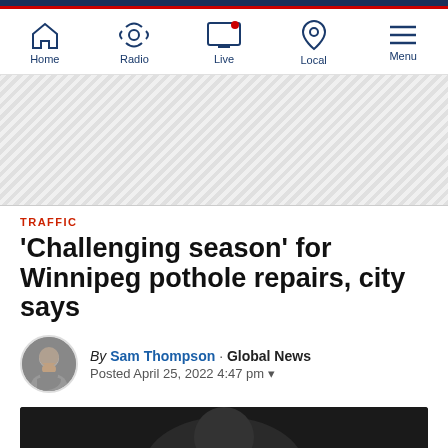Global News navigation: Home, Radio, Live, Local, Menu
[Figure (other): Advertisement banner with diagonal stripe pattern]
TRAFFIC
'Challenging season' for Winnipeg pothole repairs, city says
By Sam Thompson · Global News
Posted April 25, 2022 4:47 pm
[Figure (photo): Video thumbnail showing dark scene with caption: 'Challenging season' for Winnipeg pothole repairs... Pothole season as been taken to another level thi...]